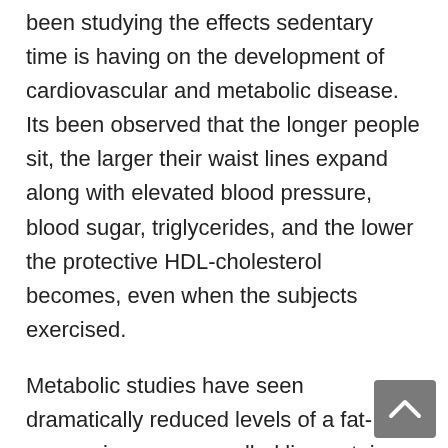been studying the effects sedentary time is having on the development of cardiovascular and metabolic disease. Its been observed that the longer people sit, the larger their waist lines expand along with elevated blood pressure, blood sugar, triglycerides, and the lower the protective HDL-cholesterol becomes, even when the subjects exercised.
Metabolic studies have seen dramatically reduced levels of a fat-vacuuming enzyme called lipoprotein lipase (LPL). Its function is to grab fat out of the bloodstream and deliver it to active muscles to burn for fuel. Low levels of this enzyme contribute to a variety of health problems, including heart dise...